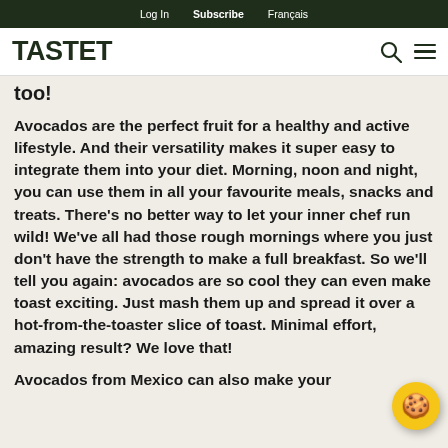Log In  Subscribe  Français
TASTET
too!
Avocados are the perfect fruit for a healthy and active lifestyle. And their versatility makes it super easy to integrate them into your diet. Morning, noon and night, you can use them in all your favourite meals, snacks and treats. There's no better way to let your inner chef run wild! We've all had those rough mornings where you just don't have the strength to make a full breakfast. So we'll tell you again: avocados are so cool they can even make toast exciting. Just mash them up and spread it over a hot-from-the-toaster slice of toast. Minimal effort, amazing result? We love that!
Avocados from Mexico can also make your